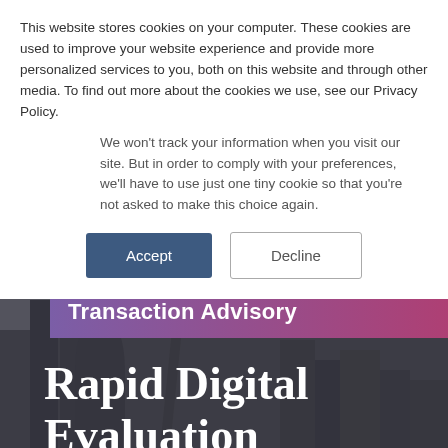This website stores cookies on your computer. These cookies are used to improve your website experience and provide more personalized services to you, both on this website and through other media. To find out more about the cookies we use, see our Privacy Policy.
We won't track your information when you visit our site. But in order to comply with your preferences, we'll have to use just one tiny cookie so that you're not asked to make this choice again.
Accept | Decline
[Figure (photo): Dark cityscape/skyline background with modern skyscrapers in monochrome/grey tones]
Transaction Advisory
Rapid Digital Evaluation